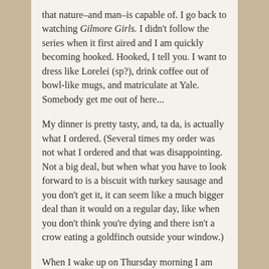that nature–and man–is capable of. I go back to watching Gilmore Girls. I didn't follow the series when it first aired and I am quickly becoming hooked. Hooked, I tell you. I want to dress like Lorelei (sp?), drink coffee out of bowl-like mugs, and matriculate at Yale. Somebody get me out of here...
My dinner is pretty tasty, and, ta da, is actually what I ordered. (Several times my order was not what I ordered and that was disappointing. Not a big deal, but when what you have to look forward to is a biscuit with turkey sausage and you don't get it, it can seem like a much bigger deal than it would on a regular day, like when you don't think you're dying and there isn't a crow eating a goldfinch outside your window.)
When I wake up on Thursday morning I am covered in sweat. Instead of being grossed out, I